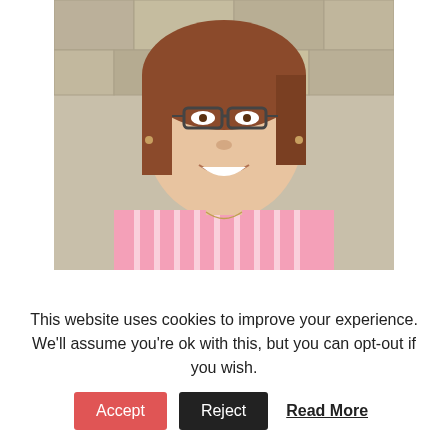[Figure (photo): Headshot of a smiling woman with glasses, shoulder-length auburn hair, wearing a pink striped shirt, photographed against a stone wall background.]
I'm Jill-a recovering perfectionist with a passion for wellness. Living well begins in our soul and is
This website uses cookies to improve your experience. We'll assume you're ok with this, but you can opt-out if you wish.
Accept   Reject   Read More